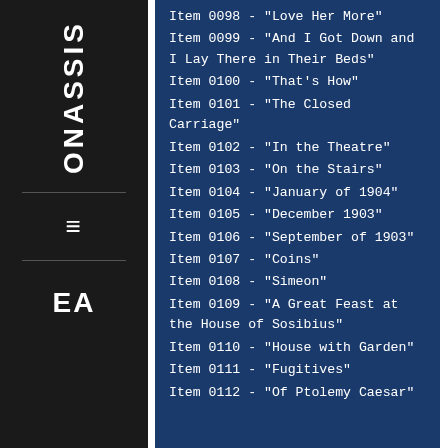ONASSIS
Item 0098 - "Love Her More"
Item 0099 - "And I Got Down and I Lay There in Their Beds"
Item 0100 - "That's How"
Item 0101 - "The Closed Carriage"
Item 0102 - "In the Theatre"
Item 0103 - "On the Stairs"
Item 0104 - "January of 1904"
Item 0105 - "December 1903"
Item 0106 - "September of 1903"
Item 0107 - "Coins"
Item 0108 - "Simeon"
Item 0109 - "A Great Feast at the House of Sosibius"
Item 0110 - "House with Garden"
Item 0111 - "Fugitives"
Item 0112 - "Of Ptolemy Caesar"